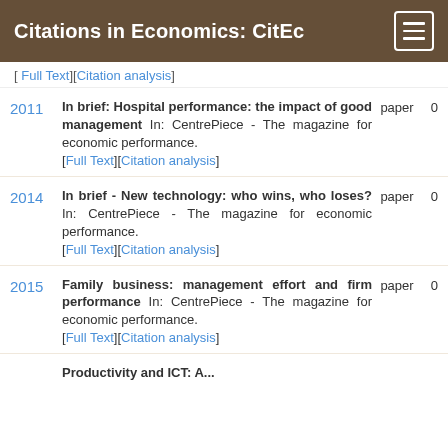Citations in Economics: CitEc
[Full Text][Citation analysis]
2011 | In brief: Hospital performance: the impact of good management In: CentrePiece - The magazine for economic performance. [Full Text][Citation analysis] | paper | 0
2014 | In brief - New technology: who wins, who loses? In: CentrePiece - The magazine for economic performance. [Full Text][Citation analysis] | paper | 0
2015 | Family business: management effort and firm performance In: CentrePiece - The magazine for economic performance. [Full Text][Citation analysis] | paper | 0
Productivity and ICT: A...